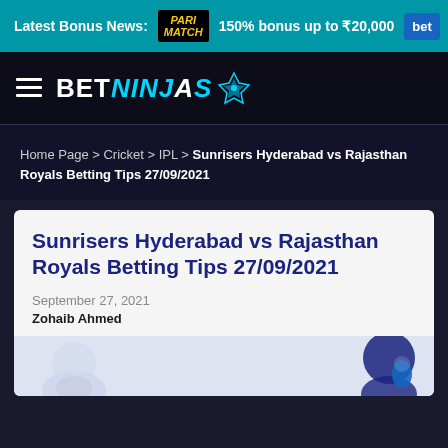Latest Bonus News: PARIMATCH 150% bonus up to ₹20,000 bet
[Figure (logo): BetNinjas logo with hamburger menu icon on dark background]
Home Page > Cricket > IPL > Sunrisers Hyderabad vs Rajasthan Royals Betting Tips 27/09/2021
Sunrisers Hyderabad vs Rajasthan Royals Betting Tips 27/09/2021
September 27, 2021
Zohaib Ahmed
[Figure (illustration): Partial illustration of betting/cricket themed characters at the bottom of the article card]